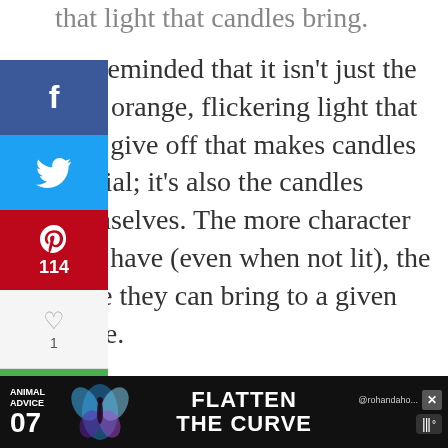that light that candles bring.
I'm reminded that it isn't just the soft, orange, flickering light that they give off that makes candles special; it's also the candles themselves. The more character they have (even when not lit), the more they can bring to a given space.
[Figure (screenshot): Social media share sidebar with Facebook, Twitter, Pinterest (114), heart (1), and email buttons. Shows 114 SHARES at bottom.]
[Figure (screenshot): Right side panel showing heart icon, 115 count, and share icon]
[Figure (photo): Photo of a smiling Asian woman in a yellow/mustard top in a kitchen setting]
[Figure (screenshot): What's Next panel showing thumbnail and text 'Scrap Trim Mantel']
[Figure (screenshot): Bottom advertisement bar with black background showing 'ANIMAL ADVICE 07' on left, colorful butterfly/insect graphic, 'FLATTEN THE CURVE' text in center, '@rohandaho' handle, and close X button. Right side shows Melody app icon.]